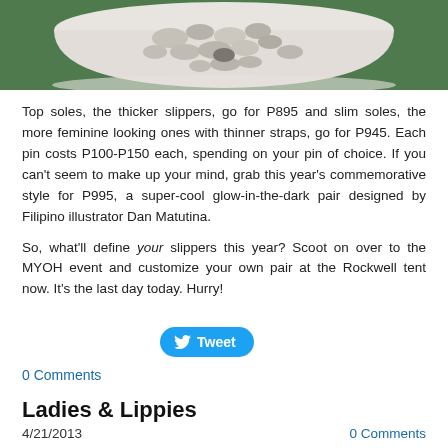[Figure (photo): Top portion of a bowl filled with stones/pebbles on a green background, cropped at the top of the page.]
Top soles, the thicker slippers, go for P895 and slim soles, the more feminine looking ones with thinner straps, go for P945. Each pin costs P100-P150 each, spending on your pin of choice. If you can't seem to make up your mind, grab this year's commemorative style for P995, a super-cool glow-in-the-dark pair designed by Filipino illustrator Dan Matutina.
So, what'll define your slippers this year? Scoot on over to the MYOH event and customize your own pair at the Rockwell tent now. It's the last day today. Hurry!
[Figure (other): Tweet button (blue rounded rectangle with Twitter bird icon and 'Tweet' text)]
0 Comments
Ladies & Lippies
4/21/2013   0 Comments